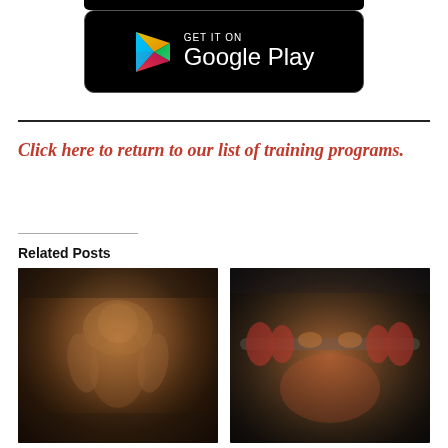[Figure (logo): Google Play Store download button badge with colorful triangle play icon on black background]
Click here to return to our list of training programs.
Related Posts
[Figure (photo): Muscular shirtless man holding dumbbells in a gym]
[Figure (photo): Person doing bench press with heavy barbell loaded with red weight plates]